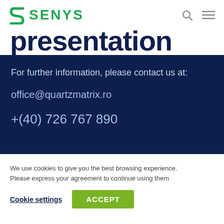SENYS
presentation
For further information, please contact us at:

office@quartzmatrix.ro

+(40) 726 767 890
Name...
We use cookies to give you the best browsing experience. Please express your agreement to continue using them
Cookie settings
ACCEPT